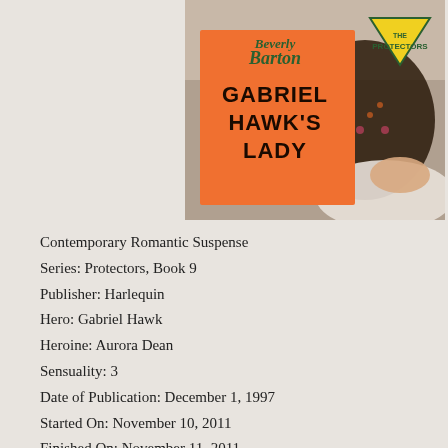[Figure (photo): Book cover of 'Gabriel Hawk's Lady' by Beverly Barton, part of The Protectors series. Orange cover with large black title text and author name in green script. Yellow triangle badge with 'The Protectors' text. Background shows a woman in a floral dress lying on a bed.]
Contemporary Romantic Suspense
Series: Protectors, Book 9
Publisher: Harlequin
Hero: Gabriel Hawk
Heroine: Aurora Dean
Sensuality: 3
Date of Publication: December 1, 1997
Started On: November 10, 2011
Finished On: November 11, 2011